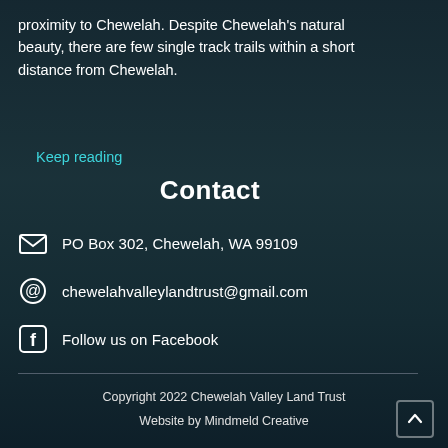proximity to Chewelah. Despite Chewelah’s natural beauty, there are few single track trails within a short distance from Chewelah.
Keep reading
Contact
PO Box 302, Chewelah, WA 99109
chewelahvalleylandtrust@gmail.com
Follow us on Facebook
Copyright 2022 Chewelah Valley Land Trust
Website by Mindmeld Creative